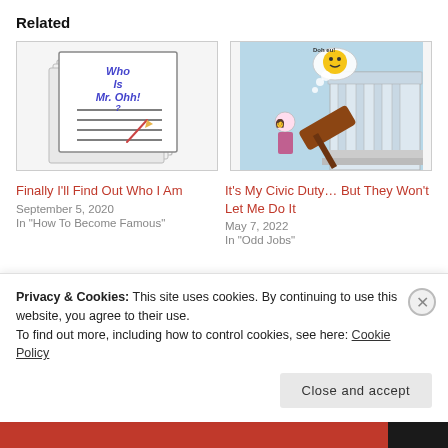Related
[Figure (illustration): Cartoon illustration of stacked papers/notepad with 'Who Is Mr. Ohh! ?' written in blue text with lines]
Finally I'll Find Out Who I Am
September 5, 2020
In "How To Become Famous"
[Figure (illustration): Cartoon of a blonde girl sitting outside a courthouse with a thought bubble containing a yellow emoji and the word 'Doh eu!' and a large gavel]
It's My Civic Duty… But They Won't Let Me Do It
May 7, 2022
In "Odd Jobs"
[Figure (illustration): Partial image showing 'THE' text in red with a pencil/pen graphic]
Privacy & Cookies: This site uses cookies. By continuing to use this website, you agree to their use.
To find out more, including how to control cookies, see here: Cookie Policy
Close and accept